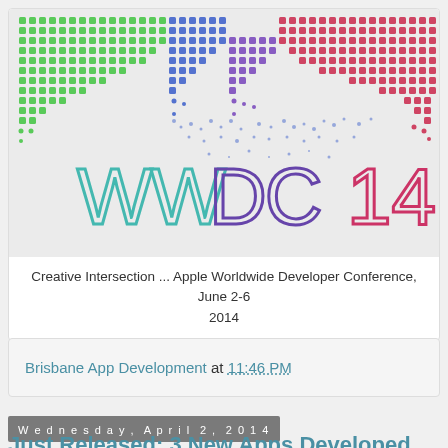[Figure (illustration): WWDC 2014 logo with colorful dot/pixel pattern in green, blue, purple, and red arranged in a curved pattern against a light gray background, with 'WWDC14' text in teal/purple gradient lettering below]
Creative Intersection ... Apple Worldwide Developer Conference, June 2-6 2014
Brisbane App Development at 11:46 PM
Wednesday, April 2, 2014
Just Released: 3 New Apps Developed